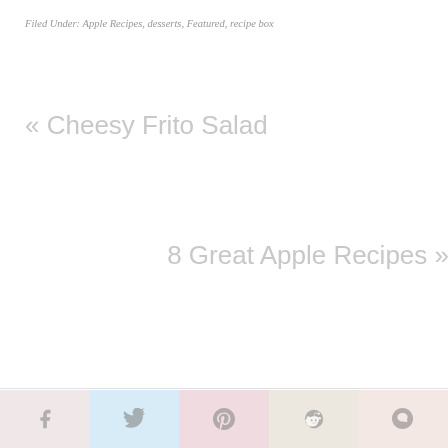Filed Under: Apple Recipes, desserts, Featured, recipe box
« Cheesy Frito Salad
8 Great Apple Recipes »
Social share bar: Facebook, Twitter, Pinterest, Reddit, Yummly